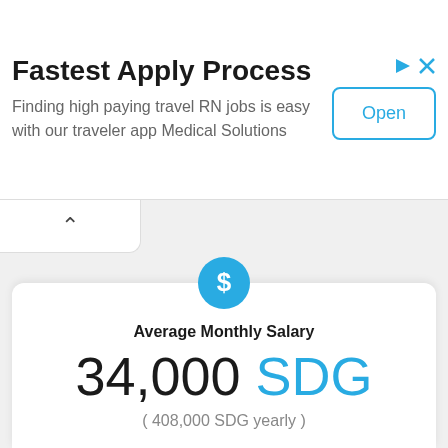[Figure (infographic): Advertisement banner: 'Fastest Apply Process' with text 'Finding high paying travel RN jobs is easy with our traveler app Medical Solutions' and an 'Open' button on the right, with ad icons (triangle and X) in top-right corner.]
[Figure (infographic): Salary information card showing a blue dollar-sign circle icon, 'Average Monthly Salary' label, '34,000 SDG' in large text, and '( 408,000 SDG yearly )' below.]
Fastest Apply Process
Finding high paying travel RN jobs is easy with our traveler app Medical Solutions
Average Monthly Salary
34,000 SDG
( 408,000 SDG yearly )